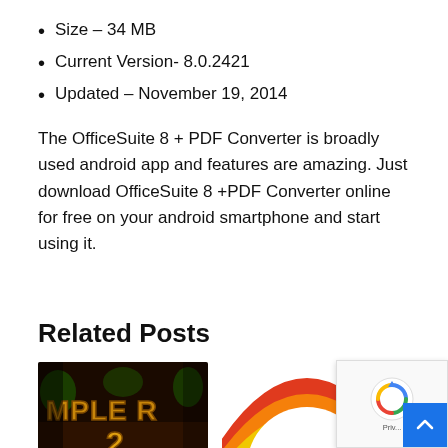Size – 34 MB
Current Version- 8.0.2421
Updated – November 19, 2014
The OfficeSuite 8 + PDF Converter is broadly used android app and features are amazing. Just download OfficeSuite 8 +PDF Converter online for free on your android smartphone and start using it.
Related Posts
[Figure (illustration): Temple Run 2 game logo/artwork showing stylized text 'MPLE R 2' in yellow/gold on dark background]
[Figure (illustration): Colorful rainbow arc stripes on white background – app icon style image with purple, blue, green, yellow, orange, red stripes]